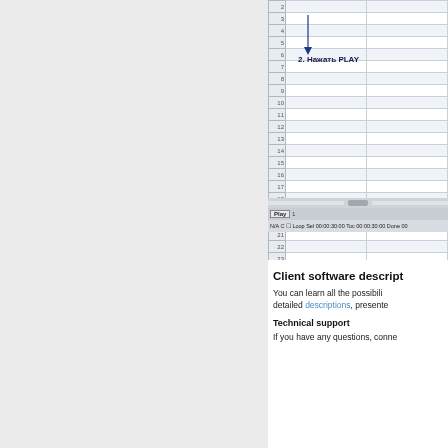[Figure (screenshot): Screenshot of a spreadsheet/sequencer application showing numbered rows (1-27) with alternating white and light blue rows, a 'Secondary Events' section header, rows 1-6 with row 2 highlighted in blue, a scrollbar, a Play button bar, and a status bar. A callout reads '2. Нажать PLAY' (2. Press PLAY) with an arrow pointing to the play controls.]
Client software descript
You can learn all the possibili detailed descriptions, presente
Technical support
If you have any questions, conne